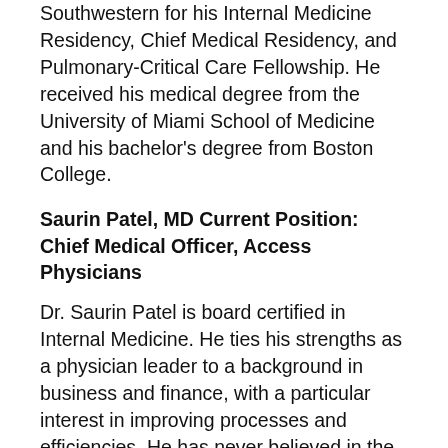Southwestern for his Internal Medicine Residency, Chief Medical Residency, and Pulmonary-Critical Care Fellowship. He received his medical degree from the University of Miami School of Medicine and his bachelor's degree from Boston College.
Saurin Patel, MD Current Position: Chief Medical Officer, Access Physicians
Dr. Saurin Patel is board certified in Internal Medicine. He ties his strengths as a physician leader to a background in business and finance, with a particular interest in improving processes and efficiencies. He has never believed in the oft-maligned paradigm that technology decreases efficiency in healthcare settings, and has quantitatively demonstrated how